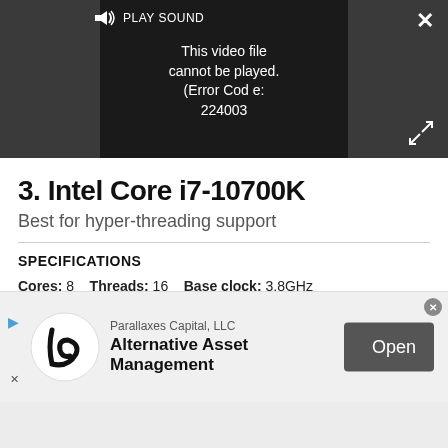[Figure (screenshot): Video player showing error message: 'This video file cannot be played. (Error Code: 224003)' with PLAY SOUND label and speaker icon, close button (×), and expand arrows]
3. Intel Core i7-10700K
Best for hyper-threading support
SPECIFICATIONS
Cores: 8    Threads: 16    Base clock: 3.8GHz
Boost clock: 5.1GHz    L3 cache: 16MB    TDP: 125W
[Figure (screenshot): Advertisement banner for Parallaxes Capital, LLC - Alternative Asset Management with Open button]